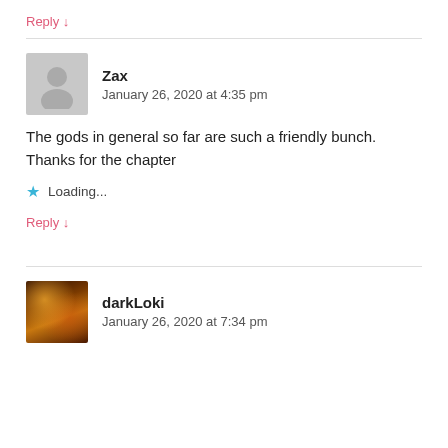Reply ↓
Zax
January 26, 2020 at 4:35 pm
The gods in general so far are such a friendly bunch. Thanks for the chapter
Loading...
Reply ↓
darkLoki
January 26, 2020 at 7:34 pm